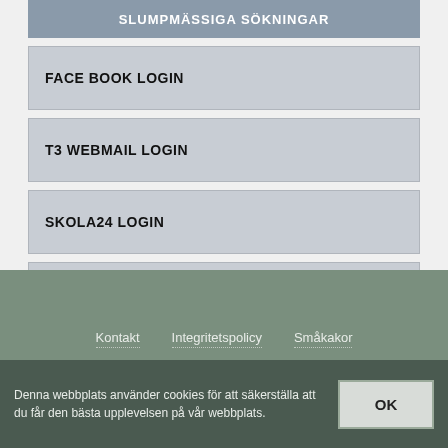SLUMPMÄSSIGA SÖKNINGAR
FACE BOOK LOGIN
T3 WEBMAIL LOGIN
SKOLA24 LOGIN
TELE2 MAIL SERVER
Kontakt    Integritetspolicy    Småkakor
Denna webbplats använder cookies för att säkerställa att du får den bästa upplevelsen på vår webbplats.